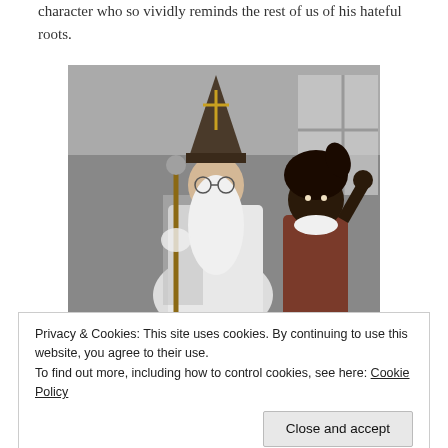character who so vividly reminds the rest of us of his hateful roots.
[Figure (photo): Black and white photograph of a person dressed as Sinterklaas (bishop costume with mitre and staff) standing next to a person in Zwarte Piet costume.]
Privacy & Cookies: This site uses cookies. By continuing to use this website, you agree to their use.
To find out more, including how to control cookies, see here: Cookie Policy
[Figure (photo): Partial black and white photograph visible at the bottom of the page, showing multiple people.]